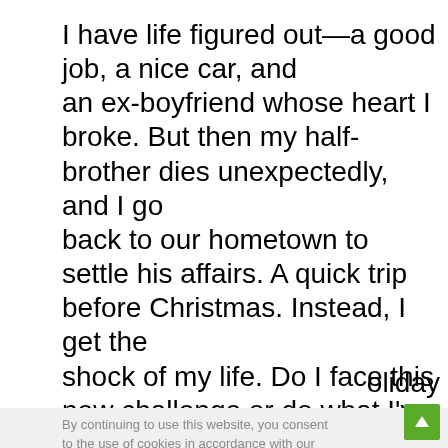I have life figured out—a good job, a nice car, and an ex-boyfriend whose heart I broke. But then my half-brother dies unexpectedly, and I go back to our hometown to settle his affairs. A quick trip before Christmas. Instead, I get the shock of my life. Do I face this new challenge or do what I've always done—run? Or will I stay and get to know the most amazing man I've ever met and take on a responsibility I've never
oliday
By continuing to use this website, you consent to the use of cookies in accordance with our Privacy Policy.
ACCEPT
eal
en